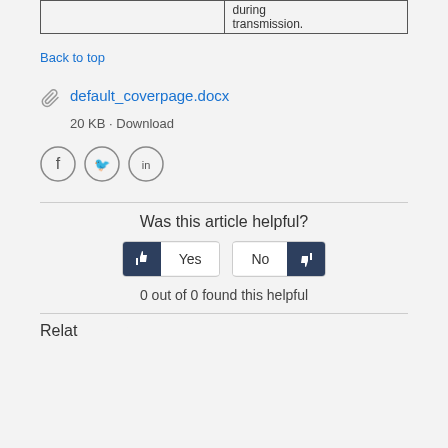|  | during
transmission. |
Back to top
default_coverpage.docx
20 KB  ·  Download
[Figure (other): Social sharing icons: Facebook, Twitter, LinkedIn in circles]
Was this article helpful?
Yes / No vote buttons
0 out of 0 found this helpful
Related articles